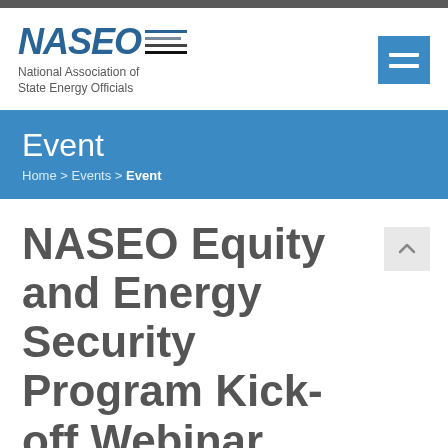[Figure (logo): NASEO logo — National Association of State Energy Officials — with italic blue bold text and horizontal stripes, plus hamburger menu button]
Event
Home > Events > Event
NASEO Equity and Energy Security Program Kick-off Webinar